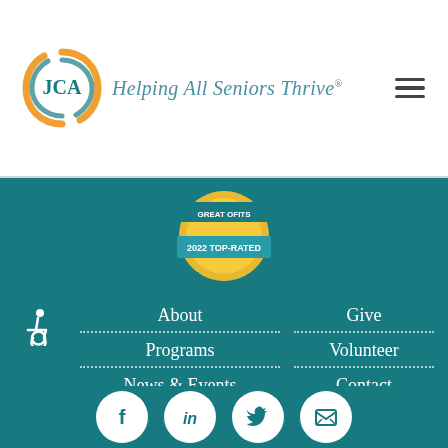[Figure (logo): JCA logo with circular swirl design in orange/gold and teal]
Helping All Seniors Thrive®
[Figure (other): Hamburger menu icon (three horizontal lines)]
[Figure (other): GreatNonprofits 2022 Top-Rated Nonprofit badge/seal in gold and teal]
[Figure (other): Wheelchair accessibility icon]
About
Give
Programs
Volunteer
News & Events
Contact
Resources
Donate
[Figure (other): Social media icons: Facebook, LinkedIn, Twitter, Email newsletter]